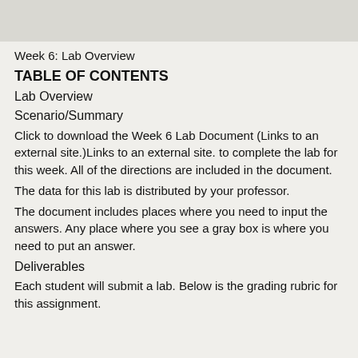Week 6: Lab Overview
TABLE OF CONTENTS
Lab Overview
Scenario/Summary
Click to download the Week 6 Lab Document (Links to an external site.)Links to an external site. to complete the lab for this week. All of the directions are included in the document.
The data for this lab is distributed by your professor.
The document includes places where you need to input the answers. Any place where you see a gray box is where you need to put an answer.
Deliverables
Each student will submit a lab. Below is the grading rubric for this assignment.